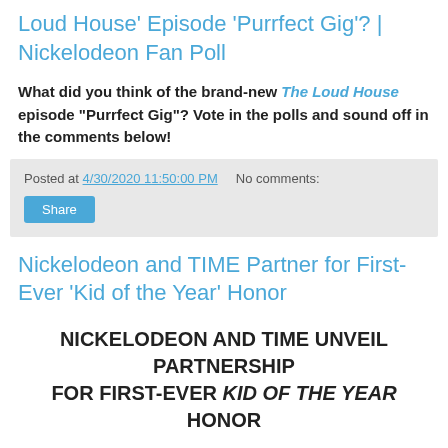Loud House' Episode 'Purrfect Gig'? | Nickelodeon Fan Poll
What did you think of the brand-new The Loud House episode "Purrfect Gig"? Vote in the polls and sound off in the comments below!
Posted at 4/30/2020 11:50:00 PM   No comments:
Share
Nickelodeon and TIME Partner for First-Ever 'Kid of the Year' Honor
NICKELODEON AND TIME UNVEIL PARTNERSHIP FOR FIRST-EVER KID OF THE YEAR HONOR